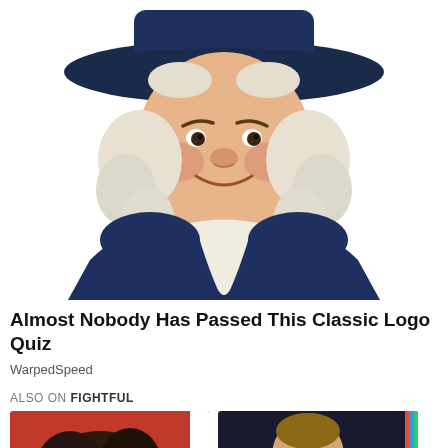[Figure (illustration): Illustrated portrait of the Quaker Oats man mascot — a smiling, rosy-cheeked man with white curly hair wearing a wide-brimmed dark blue hat and a dark blue colonial coat with a white ruffled cravat]
Almost Nobody Has Passed This Classic Logo Quiz
WarpedSpeed
ALSO ON FIGHTFUL
[Figure (photo): Thumbnail photo showing a person with dark curly hair against a red and white background]
[Figure (photo): Thumbnail photo showing a man with short hair against a dark background, with colorful vertical bars on the right edge]